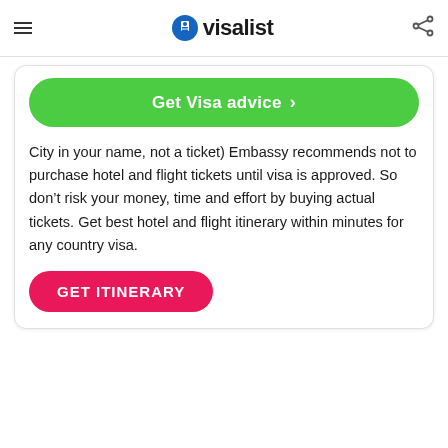visalist
Get Visa advice
City in your name, not a ticket) Embassy recommends not to purchase hotel and flight tickets until visa is approved. So don’t risk your money, time and effort by buying actual tickets. Get best hotel and flight itinerary within minutes for any country visa.
GET ITINERARY